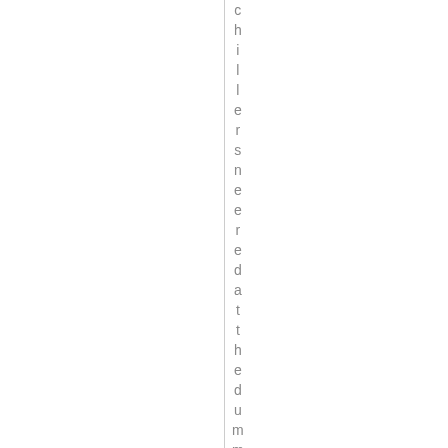chillers needed at the dummies e